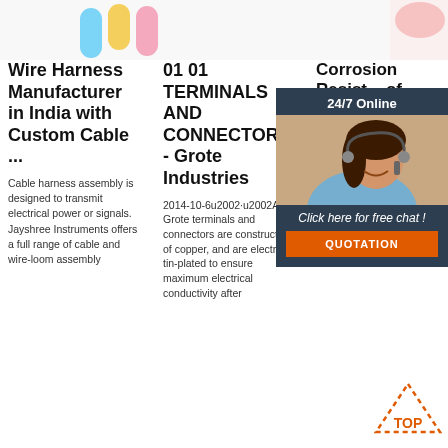[Figure (photo): Top strip with colored capsule/pill shapes on left and a pink/red object on right]
Wire Harness Manufacturer in India with Custom Cable ...
Cable harness assembly is designed to transmit electrical power or signals. Jayshree Instruments offers a full range of cable and wire-loom assembly
01 01 TERMINALS AND CONNECTORS - Grote Industries
2014-10-6u2002·u2002All Grote terminals and connectors are constructed of copper, and are electro tin-plated to ensure maximum electrical conductivity after
Corrosion Resist... of E... Wire Terr... Use...
2016-6... 3u2002... Abstra... reports that 50 percent of electrical downtime has been traced to open or intermittent
[Figure (photo): 24/7 Online chat widget with customer service representative photo, click here for free chat, and QUOTATION button]
[Figure (other): TOP navigation button with orange dotted triangle icon]